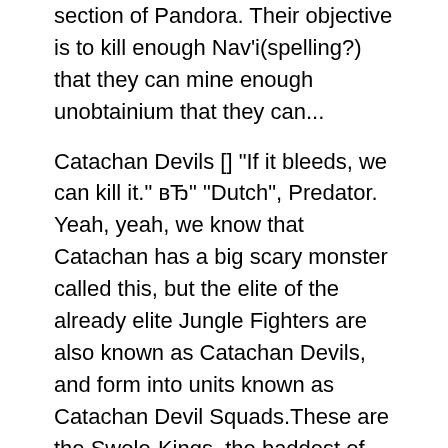section of Pandora. Their objective is to kill enough Nav'i(spelling?) that they can mine enough unobtainium that they can...
Catachan Devils [] "If it bleeds, we can kill it." вЂ" "Dutch", Predator. Yeah, yeah, we know that Catachan has a big scary monster called this, but the elite of the already elite Jungle Fighters are also known as Catachan Devils, and form into units known as Catachan Devil Squads.These are the Swole-Kings, the baddest of the bad, the best Rambos on a planet full of Rambos. In Warhammer 40,000, the superhuman Space Marines may be the Imperium's most exalted warriors, but the overwhelming majority of its battles are fought by the untold billions in the Astra Militarum, more commonly known as the